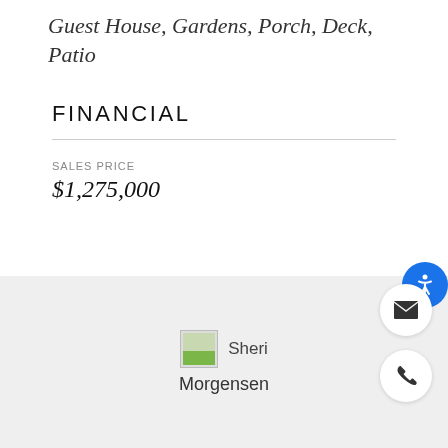Guest House, Gardens, Porch, Deck, Patio
FINANCIAL
SALES PRICE
$1,275,000
[Figure (other): Agent photo placeholder for Sheri Morgensen]
Sheri Morgensen